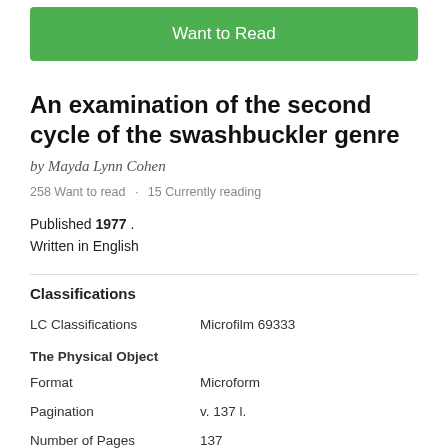[Figure (screenshot): Green 'Want to Read' button at the top of the page]
An examination of the second cycle of the swashbuckler genre
by Mayda Lynn Cohen
258 Want to read · 15 Currently reading
Published 1977 .
Written in English
Classifications
|  |  |
| --- | --- |
| LC Classifications | Microfilm 69333 |
| The Physical Object |  |
| Format | Microform |
| Pagination | v. 137 l. |
| Number of Pages | 137 |